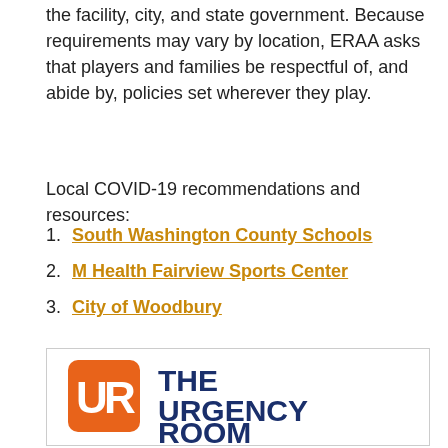the facility, city, and state government. Because requirements may vary by location, ERAA asks that players and families be respectful of, and abide by, policies set wherever they play.
Local COVID-19 recommendations and resources:
1. South Washington County Schools
2. M Health Fairview Sports Center
3. City of Woodbury
[Figure (logo): The Urgency Room logo with orange 'UR' icon and dark navy text reading 'THE URGENCY ROOM']